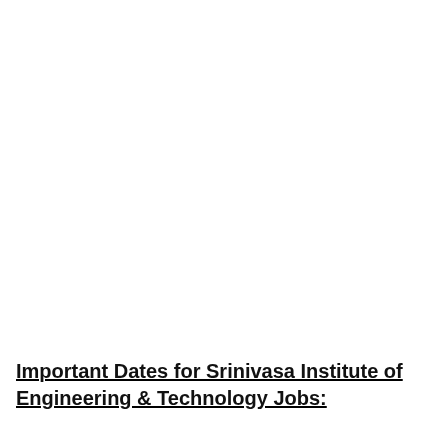Important Dates for Srinivasa Institute of Engineering & Technology Jobs: